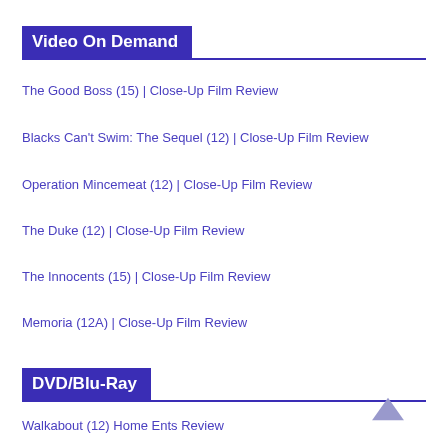Video On Demand
The Good Boss (15) | Close-Up Film Review
Blacks Can't Swim: The Sequel (12) | Close-Up Film Review
Operation Mincemeat  (12) | Close-Up Film Review
The Duke  (12) | Close-Up Film Review
The Innocents  (15) |  Close-Up Film Review
Memoria (12A) | Close-Up Film Review
DVD/Blu-Ray
Walkabout (12) Home Ents Review